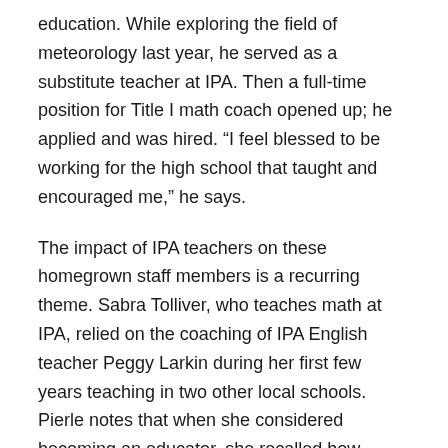education. While exploring the field of meteorology last year, he served as a substitute teacher at IPA. Then a full-time position for Title I math coach opened up; he applied and was hired. “I feel blessed to be working for the high school that taught and encouraged me,” he says.
The impact of IPA teachers on these homegrown staff members is a recurring theme. Sabra Tolliver, who teaches math at IPA, relied on the coaching of IPA English teacher Peggy Larkin during her first few years teaching in two other local schools. Pierle notes that when she considered becoming an educator, she recalled how welcoming her high school teachers were. “Honestly, I would not be where I am today without the help of my former teachers at IPA.” Now in her first year teaching 5th grade at ICES, she adds, “It already feels like family to me.”